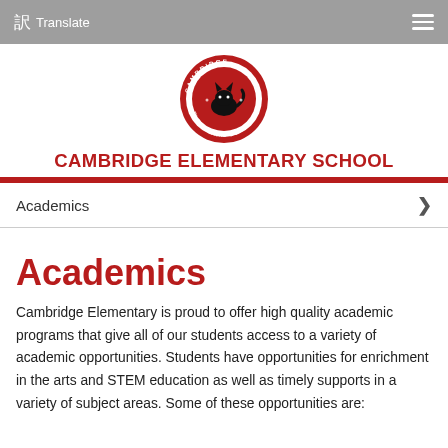Translate
[Figure (logo): Cambridge Elementary School circular logo with a black cat silhouette in the center, red and white border with school name text around the circle]
CAMBRIDGE ELEMENTARY SCHOOL
Academics
Academics
Cambridge Elementary is proud to offer high quality academic programs that give all of our students access to a variety of academic opportunities. Students have opportunities for enrichment in the arts and STEM education as well as timely supports in a variety of subject areas. Some of these opportunities are: